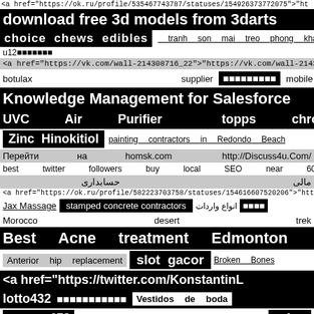<a href="https://ok.ru/profile/535467743787/statuses/154926373772075">"ht
download free 3d models from 3darts
choice chews edibles   tranh son mai treo phong khach
u12□□□□□□□
<a href="https://vk.com/wall-214308716_22">"https://vk.com/wall-214308716
botulax   supplier   □□□□□□□□□   mobile   content
Knowledge Management for Salesforce
UVC  Air  Purifier    topps  chrome  cards
Zinc Hinokitiol    painting contractors in Redondo Beach
Перейти  на  homsk.com    http://Discuss4u.Com/
best  twitter  followers  buy  local  SEO  near  60940
مالی              حسابداری              افزار              نرم
<a href="https://ok.ru/profile/582223703758/statuses/154616607520206">"htt
Jax Massage  stamped concrete contractors  انواع واردات  □□□□
Morocco                       desert                       trek
Best  Acne  treatment  Edmonton
Anterior hip replacement   slot gacor   Broken Bones
<a href="https://twitter.com/KonstantinL
lotto432   □□□□□□□□□□□   Vestidos de boda
□□□□□□678                                          safety